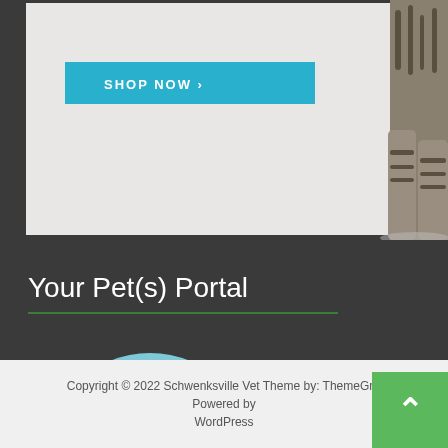[Figure (photo): Partial view of a striped tabby cat walking, with a teal 'SHOP NOW >' button overlay on a light grey/white background banner]
Your Pet(s) Portal
[Figure (logo): Petly logo: circular light blue background with 'Petly' written in brown/orange script with a registered trademark symbol]
Copyright © 2022 Schwenksville Vet Theme by: ThemeGrill Powered by WordPress